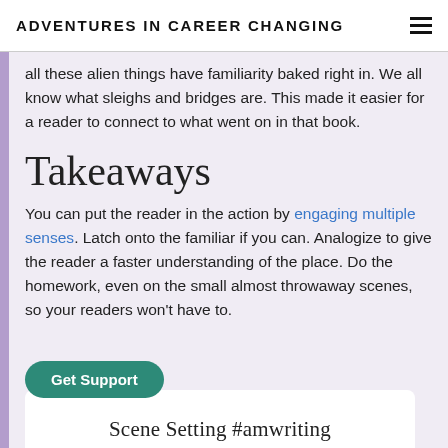ADVENTURES IN CAREER CHANGING
all these alien things have familiarity baked right in. We all know what sleighs and bridges are. This made it easier for a reader to connect to what went on in that book.
Takeaways
You can put the reader in the action by engaging multiple senses. Latch onto the familiar if you can. Analogize to give the reader a faster understanding of the place. Do the homework, even on the small almost throwaway scenes, so your readers won't have to.
Get Support
Scene Setting #amwriting